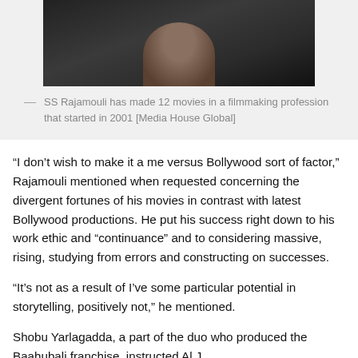[Figure (photo): A man with a grey beard wearing a dark shirt and lanyard, photographed at what appears to be a media or press event.]
— SS Rajamouli has made 12 movies in a filmmaking profession that started in 2001 [Media House Global]
“I don’t wish to make it a me versus Bollywood sort of factor,” Rajamouli mentioned when requested concerning the divergent fortunes of his movies in contrast with latest Bollywood productions. He put his success right down to his work ethic and “continuance” and to considering massive, rising, studying from errors and constructing on successes.
“It’s not as a result of I’ve some particular potential in storytelling, positively not,” he mentioned.
Shobu Yarlagadda, a part of the duo who produced the Baahubali franchise, instructed Al J…